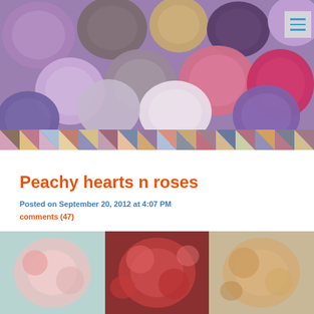[Figure (photo): Close-up photograph of a colorful patchwork quilt featuring hexagonal flower pattern pieces in purple, pink, mauve, gray, and white tones with rose/floral quilting texture, with a border of triangular pieces in various colors at the bottom]
Peachy hearts n roses
Posted on September 20, 2012 at 4:07 PM
comments (47)
[Figure (photo): Close-up photograph of fabric swatches showing floral and patterned quilt fabrics in pink, red, beige/tan tones]